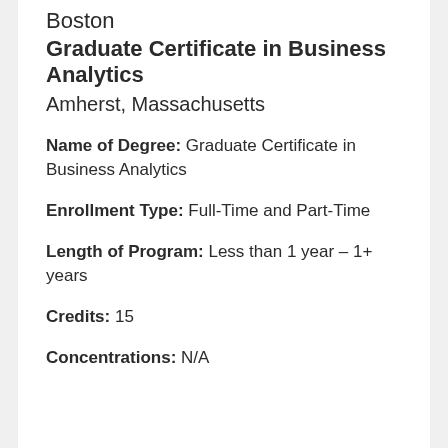Boston
Graduate Certificate in Business Analytics
Amherst, Massachusetts
Name of Degree: Graduate Certificate in Business Analytics
Enrollment Type: Full-Time and Part-Time
Length of Program: Less than 1 year – 1+ years
Credits: 15
Concentrations: N/A